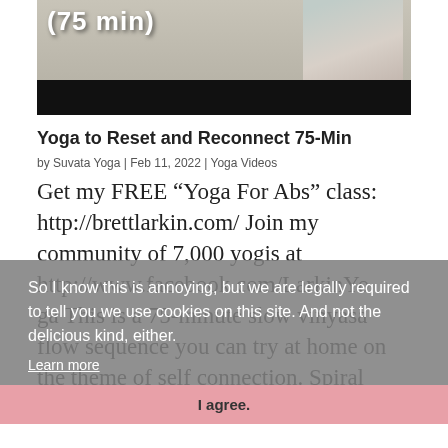[Figure (screenshot): Thumbnail of a yoga video showing '(75 min)' text overlay and a person sitting on a purple yoga mat, with a black bar below]
Yoga to Reset and Reconnect 75-Min
by Suvata Yoga | Feb 11, 2022 | Yoga Videos
Get my FREE “Yoga For Abs” class: http://brettlarkin.com/ Join my community of 7,000 yogis at http://www.facebook.com/LarkinYoga This is a 75-minute slow vinyasa flow sequence you can try at home on the theme of self connection. Spiral
So I know this is annoying, but we are legally required to tell you we use cookies on this site. And not the delicious kind, either.
Learn more
I agree.